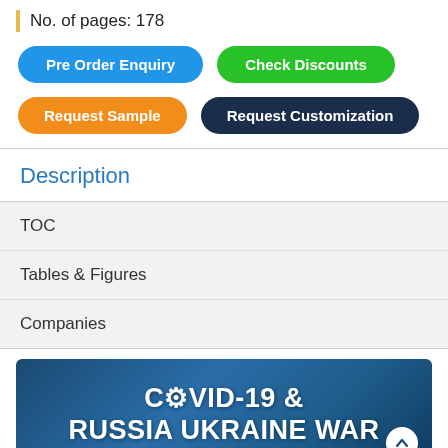No. of pages: 178
Pre Order Enquiry
Check Discounts
Request Sample
Request Customization
Description
TOC
Tables & Figures
Companies
[Figure (illustration): Banner image with blue background showing text: COVID-19 & RUSSIA UKRAINE WAR with a scroll-up button]